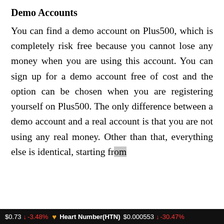Demo Accounts
You can find a demo account on Plus500, which is completely risk free because you cannot lose any money when you are using this account. You can sign up for a demo account free of cost and the option can be chosen when you are registering yourself on Plus500. The only difference between a demo account and a real account is that you are not using any real money. Other than that, everything else is identical, starting from
$0.73 ↓ -3.48%  ♥ Heart Number(HTN) $0.000553 ↓ -30.47%